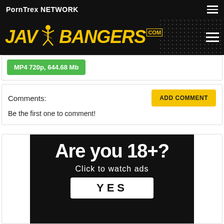PornTrex NETWORK
[Figure (logo): JAV Bangers .com logo in yellow italic bold text on black background with stylized figure icon]
MP4 720p, 644.68 Mb
Comments:
Be the first one to comment!
[Figure (infographic): Age verification advertisement: 'Are you 18+?' with subtitle 'Click to watch ads' and a YES button on black background]